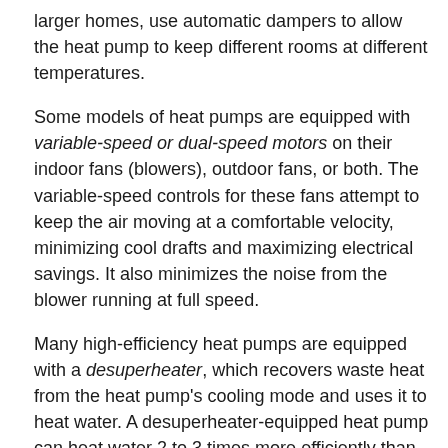larger homes, use automatic dampers to allow the heat pump to keep different rooms at different temperatures.
Some models of heat pumps are equipped with variable-speed or dual-speed motors on their indoor fans (blowers), outdoor fans, or both. The variable-speed controls for these fans attempt to keep the air moving at a comfortable velocity, minimizing cool drafts and maximizing electrical savings. It also minimizes the noise from the blower running at full speed.
Many high-efficiency heat pumps are equipped with a desuperheater, which recovers waste heat from the heat pump's cooling mode and uses it to heat water. A desuperheater-equipped heat pump can heat water 2 to 3 times more efficiently than an ordinary electric water heater.
Another advance in heat pump technology is the scroll compressor, which consists of two spiral-shaped scrolls.